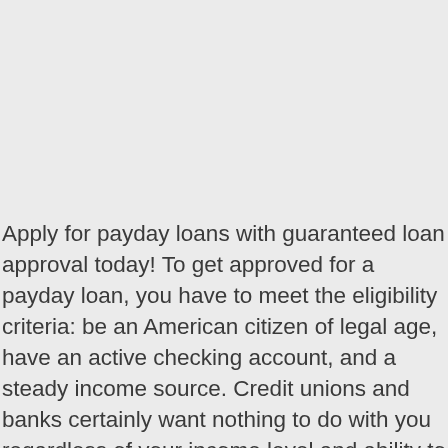Apply for payday loans with guaranteed loan approval today! To get approved for a payday loan, you have to meet the eligibility criteria: be an American citizen of legal age, have an active checking account, and a steady income source. Credit unions and banks certainly want nothing to do with you regardless of your income level and ability to make repayments, so you will need to do something fast. Lenders of payday loans, don't focus on your credit history but rather on your ability to repay the loan on time. At that, loan interest rates are very high. They offer different